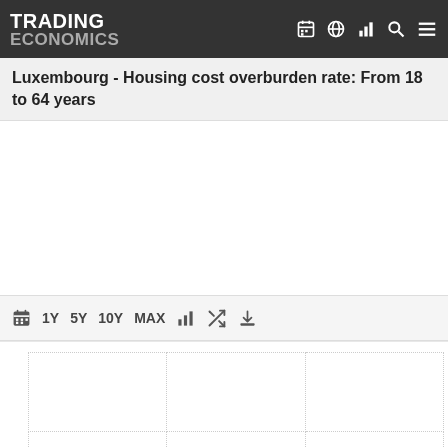TRADING ECONOMICS
Luxembourg - Housing cost overburden rate: From 18 to 64 years
[Figure (other): Trading Economics chart interface with toolbar (1Y, 5Y, 10Y, MAX, bar chart, shuffle, download icons) and an empty grid/chart area with dotted grid lines]
[Figure (screenshot): Empty chart grid with dotted cell borders, 2 rows x 3 columns layout]